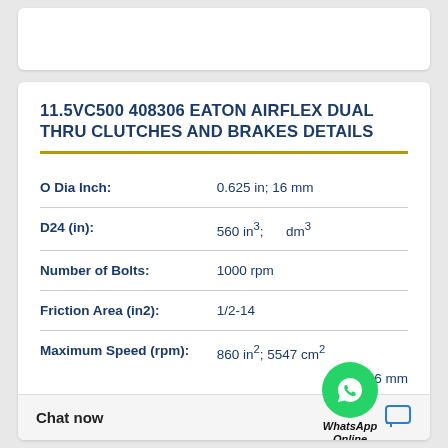11.5VC500 408306 EATON AIRFLEX DUAL THRU CLUTCHES AND BRAKES DETAILS
| Specification | Value |
| --- | --- |
| O Dia Inch: | 0.625 in; 16 mm |
| D24 (in): | 560 in³; dm³ |
| Number of Bolts: | 1000 rpm |
| Friction Area (in2): | 1/2-14 |
| Maximum Speed (rpm): | 860 in²; 5547 cm² |
|  | 0.25 in; 6 mm |
[Figure (other): WhatsApp Online button overlay with green phone icon circle, 'WhatsApp Online' italic text below]